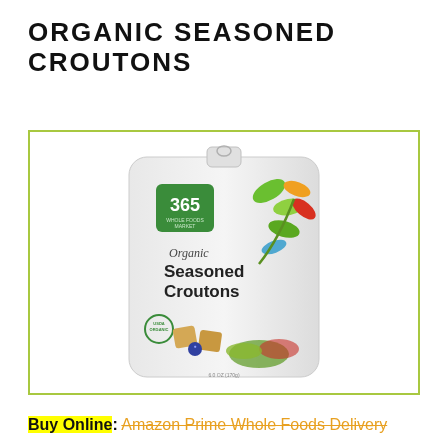ORGANIC SEASONED CROUTONS
[Figure (photo): 365 Whole Foods Market Organic Seasoned Croutons bag product photo. White resealable bag with 365 green logo, colorful leaf design, and salad/crouton imagery at bottom.]
Buy Online: Amazon Prime Whole Foods Delivery